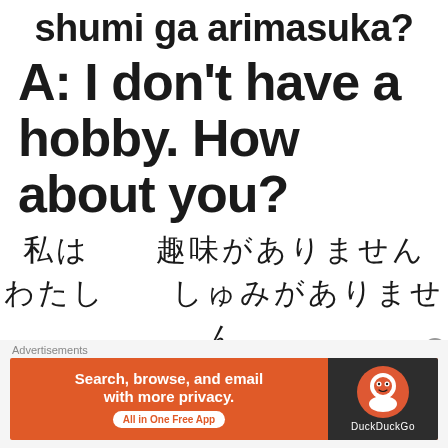shumi ga arimasuka?
A: I don't have a hobby. How about you?
（Japanese characters） shumi wa arimasen.
Advertisements
Search, browse, and email with more privacy. All in One Free App — DuckDuckGo